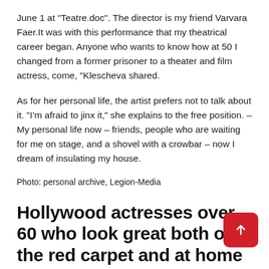June 1 at "Teatre.doc". The director is my friend Varvara Faer.It was with this performance that my theatrical career began. Anyone who wants to know how at 50 I changed from a former prisoner to a theater and film actress, come, "Klescheva shared.
As for her personal life, the artist prefers not to talk about it. "I'm afraid to jinx it," she explains to the free position. – My personal life now – friends, people who are waiting for me on stage, and a shovel with a crowbar – now I dream of insulating my house.
Photo: personal archive, Legion-Media
Hollywood actresses over 60 who look great both on the red carpet and at home in a dressing gown